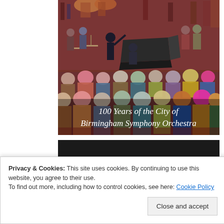[Figure (illustration): A painting of an orchestra concert scene showing musicians on stage with a conductor and grand piano, and audience members viewed from behind in the foreground. Text overlay reads '100 Years of the City of Birmingham Symphony Orchestra'.]
[Figure (screenshot): Partial dark/black image, appears to be another content image mostly obscured by cookie banner.]
Privacy & Cookies: This site uses cookies. By continuing to use this website, you agree to their use.
To find out more, including how to control cookies, see here: Cookie Policy
Close and accept